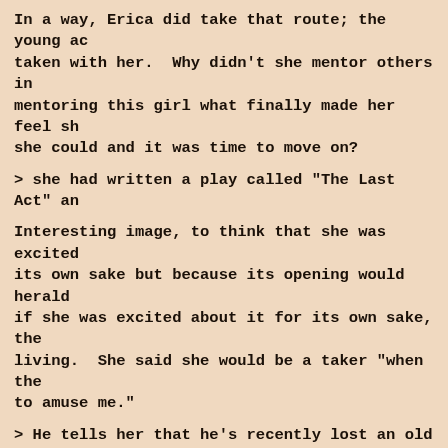In a way, Erica did take that route; the young ac taken with her.  Why didn't she mentor others in mentoring this girl what finally made her feel sh she could and it was time to move on?
> she had written a play called "The Last Act" an
Interesting image, to think that she was excited its own sake but because its opening would herald if she was excited about it for its own sake, the living.  She said she would be a taker "when the to amuse me."
> He tells her that he's recently lost an old fri
Love the reaction to that one.  "Old friend takes meaning with you!"  In fact, Natalie's whole atti She *knows* Nick, knows his moods, knows how to k of a bad one.
And this scene is also the reason I will *never* "Last Knight" to be a real episode.  I just can't suicidal Natalie, no way, no how!  Not after watc one fifty times during the hiatus reruns!
> Nat reveals that she found out the young doctor